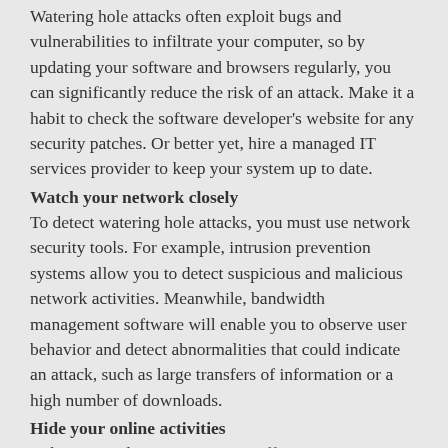Watering hole attacks often exploit bugs and vulnerabilities to infiltrate your computer, so by updating your software and browsers regularly, you can significantly reduce the risk of an attack. Make it a habit to check the software developer's website for any security patches. Or better yet, hire a managed IT services provider to keep your system up to date.
Watch your network closely
To detect watering hole attacks, you must use network security tools. For example, intrusion prevention systems allow you to detect suspicious and malicious network activities. Meanwhile, bandwidth management software will enable you to observe user behavior and detect abnormalities that could indicate an attack, such as large transfers of information or a high number of downloads.
Hide your online activities
Cybercriminals can create more effective watering hole attacks if they compromise websites only you and your employees frequent. As such, you should hide your online activities with a VPN and your browser's private browsing feature.
At the end of the day, the best protection is staying informed. As cyberthreats continue to evolve, you must always be vigilant and aware of the newest threats. Tune in to our blog to find out about the latest developments in security and to get more tips on how to keep